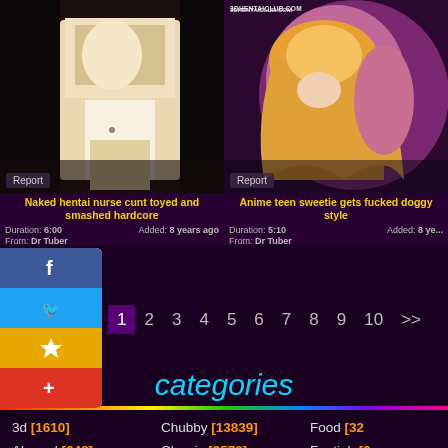[Figure (screenshot): Video thumbnail left: anime nurse illustration, dark background]
[Figure (screenshot): Video thumbnail right: 3D anime girl with blonde hair, purple/pink tones, watermark 3DHENTAICLUB.COM]
Naked hentai nurse cunt toyed and smashed hardcore
Duration: 6:00   Added: 8 years ago   From: Dr Tuber
Anime teen sweetie gets fucked doggy style
Duration: 5:10   Added: 8 years ago   From: Dr Tuber
1 2 3 4 5 6 7 8 9 10 >>
categories
3d [1610]
Abused [648]
Adorable [6383]
Chubby [13839]
Classic [3570]
Clit [3577]
Food [32...]
Footjob [0...]
Forced [5...]